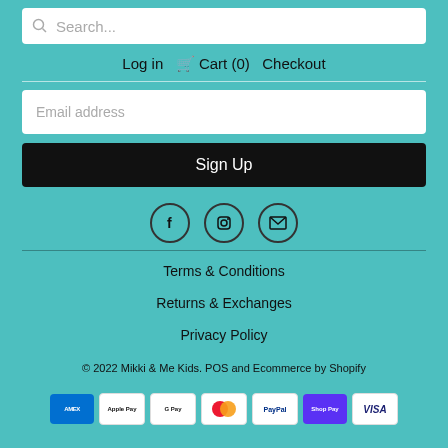[Figure (screenshot): Search bar with magnifying glass icon and placeholder text 'Search...']
Log in  🛒 Cart (0)  Checkout
[Figure (screenshot): Email address input field]
Sign Up
[Figure (infographic): Social media icons: Facebook, Instagram, Email in circles]
Terms & Conditions
Returns & Exchanges
Privacy Policy
© 2022 Mikki & Me Kids. POS and Ecommerce by Shopify
[Figure (infographic): Payment method icons: American Express, Apple Pay, Google Pay, Mastercard, PayPal, Shop Pay, Visa]